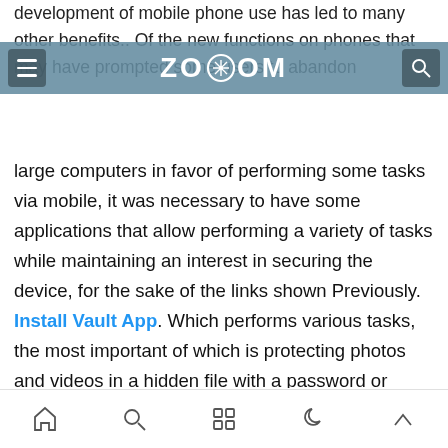development of mobile phone use has led to many other benefits.. Of the new functions on phones that may have prompted some users to abandon
ZOOOM
large computers in favor of performing some tasks via mobile, it was necessary to have some applications that allow performing a variety of tasks while maintaining an interest in securing the device, for the sake of the links shown Previously. Install Vault App. Which performs various tasks, the most important of which is protecting photos and videos in a hidden file with a password or security pattern. This protects you from hackers who unlock your phone, access social networking apps, read your messages, and listen to your private conversations.